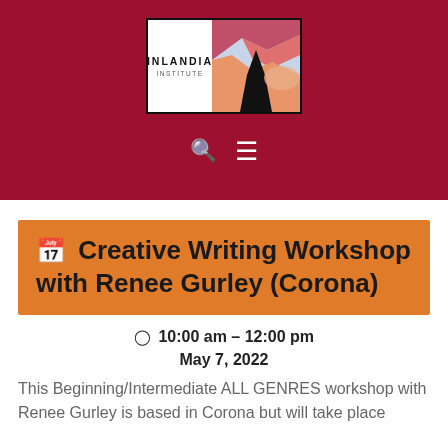[Figure (logo): Inlandia Institute logo with stylized desert landscape showing red mountains and a road, white background with text 'INLANDIA INSTITUTE']
Creative Writing Workshop with Renee Gurley (Corona)
10:00 am – 12:00 pm
May 7, 2022
This Beginning/Intermediate ALL GENRES workshop with Renee Gurley is based in Corona but will take place